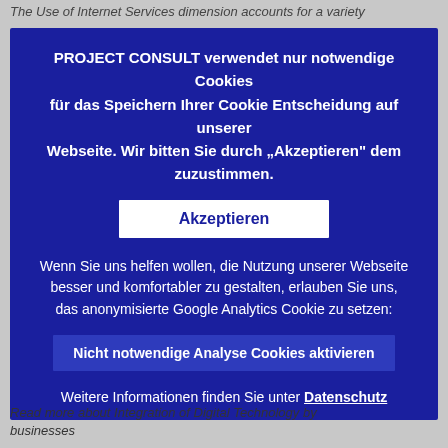The Use of Internet Services dimension accounts for a variety
[Figure (screenshot): Cookie consent overlay dialog on a dark blue background. Contains bold text in German asking users to accept necessary cookies, an Akzeptieren (Accept) button, a secondary message about optional Google Analytics cookies, a button to activate non-necessary analytics cookies, and a Datenschutz (Privacy) link.]
Read more about Integration of Digital Technology by businesses